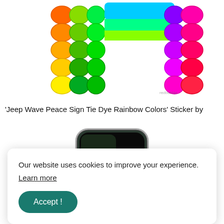[Figure (illustration): Rainbow tie-dye peace sign Jeep wave sticker with colorful scalloped edges in orange, yellow, green, blue, purple, and pink colors on white background. The sticker shows a stylized hand wave shape with tie-dye rainbow pattern.]
'Jeep Wave Peace Sign Tie Dye Rainbow Colors' Sticker by
[Figure (photo): Back of a dark green iPhone 11 Pro in a clear phone case, showing the triple camera system, with a small white wave symbol on the lower portion of the case.]
Our website uses cookies to improve your experience.
Learn more
Accept !